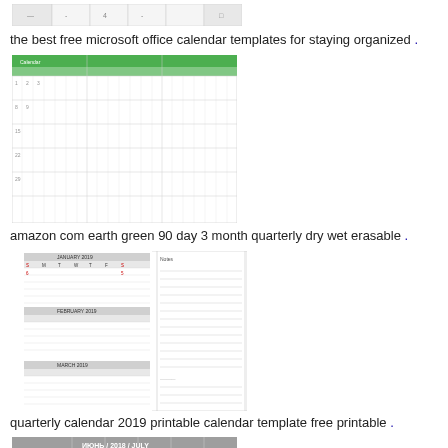[Figure (screenshot): Partial calendar image at top, cut off, showing a gray/white spreadsheet-like calendar template]
the best free microsoft office calendar templates for staying organized .
[Figure (screenshot): Green-header 90 day 3 month quarterly calendar spreadsheet, earth green color scheme]
amazon com earth green 90 day 3 month quarterly dry wet erasable .
[Figure (screenshot): Quarterly calendar 2019 printable calendar template with two-panel layout showing monthly calendars and lined notes]
quarterly calendar 2019 printable calendar template free printable .
[Figure (screenshot): July 2018 calendar in Russian/English bilingual format with dates 1-22+ shown, red numbers for certain dates]